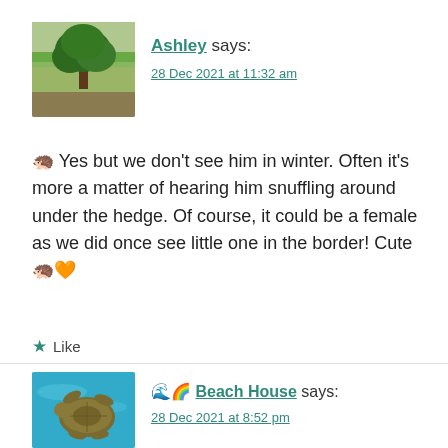[Figure (photo): Avatar photo of Ashley showing a large green tree in a field]
Ashley says:
28 Dec 2021 at 11:32 am
🦔 Yes but we don't see him in winter. Often it's more a matter of hearing him snuffling around under the hedge. Of course, it could be a female as we did once see little one in the border! Cute 🦔🧡
★ Like
[Figure (photo): Avatar photo of Beach House showing a sea turtle swimming underwater]
🌊🌈 Beach House says:
28 Dec 2021 at 8:52 pm